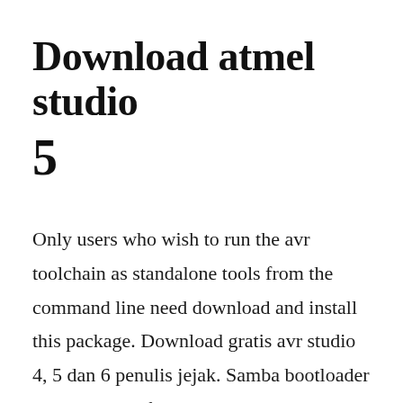Download atmel studio 5
Only users who wish to run the avr toolchain as standalone tools from the command line need download and install this package. Download gratis avr studio 4, 5 dan 6 penulis jejak. Samba bootloader download avr freaks atmel community. Download atmel studio for windows pc from filehorse. Each download